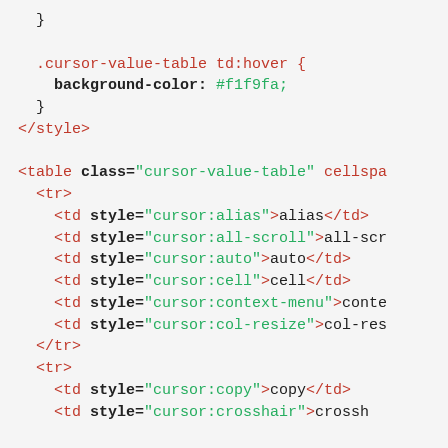Code snippet showing CSS .cursor-value-table td:hover rule and HTML table markup with cursor style attributes